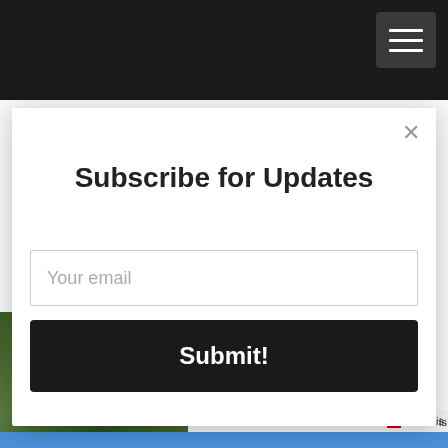-Lost and Tired
[Figure (screenshot): Subscribe for Updates modal dialog with email input field and Submit button on a website. Close (X) button in top right corner of modal.]
AddThis is